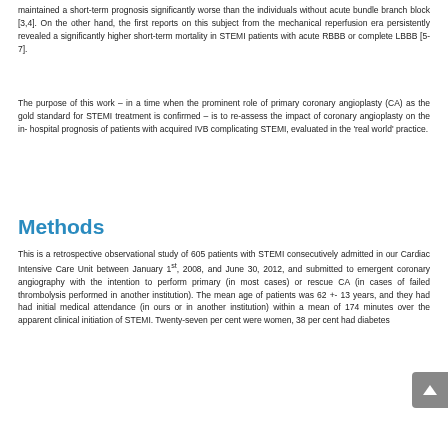maintained a short-term prognosis significantly worse than the individuals without acute bundle branch block [3,4]. On the other hand, the first reports on this subject from the mechanical reperfusion era persistently revealed a significantly higher short-term mortality in STEMI patients with acute RBBB or complete LBBB [5-7].
The purpose of this work – in a time when the prominent role of primary coronary angioplasty (CA) as the gold standard for STEMI treatment is confirmed – is to re-assess the impact of coronary angioplasty on the in-hospital prognosis of patients with acquired IVB complicating STEMI, evaluated in the 'real world' practice.
Methods
This is a retrospective observational study of 605 patients with STEMI consecutively admitted in our Cardiac Intensive Care Unit between January 1st, 2008, and June 30, 2012, and submitted to emergent coronary angiography with the intention to perform primary (in most cases) or rescue CA (in cases of failed thrombolysis performed in another institution). The mean age of patients was 62 +- 13 years, and they had had initial medical attendance (in ours or in another institution) within a mean of 174 minutes over the apparent clinical initiation of STEMI. Twenty-seven per cent were women, 38 per cent had diabetes...